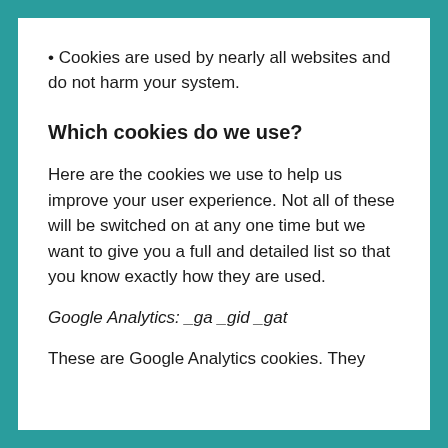• Cookies are used by nearly all websites and do not harm your system.
Which cookies do we use?
Here are the cookies we use to help us improve your user experience. Not all of these will be switched on at any one time but we want to give you a full and detailed list so that you know exactly how they are used.
Google Analytics: _ga _gid _gat
These are Google Analytics cookies. They